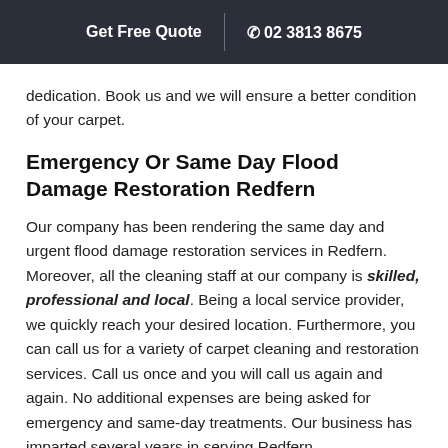Get Free Quote  02 3813 8675
dedication. Book us and we will ensure a better condition of your carpet.
Emergency Or Same Day Flood Damage Restoration Redfern
Our company has been rendering the same day and urgent flood damage restoration services in Redfern. Moreover, all the cleaning staff at our company is skilled, professional and local. Being a local service provider, we quickly reach your desired location. Furthermore, you can call us for a variety of carpet cleaning and restoration services. Call us once and you will call us again and again. No additional expenses are being asked for emergency and same-day treatments. Our business has imparted several years in serving Redfern